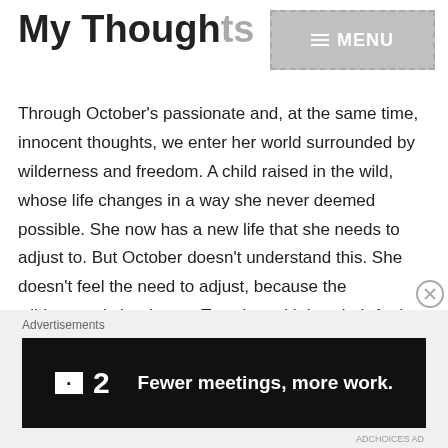My Thoughts
[Figure (other): Grey MENU button with hamburger icon and dashed border]
Through October's passionate and, at the same time, innocent thoughts, we enter her world surrounded by wilderness and freedom. A child raised in the wild, whose life changes in a way she never deemed possible. She now has a new life that she needs to adjust to. But October doesn't understand this. She doesn't feel the need to adjust, because the wilderness is her home. Together with her dad. And now she lives in the city with this woman who calls herself mother, who tells her she needs to go to school, and who doesn't approve of the baby owl.
Advertisements
[Figure (screenshot): Dark advertisement banner: square logo with 2, text 'Fewer meetings, more work.']